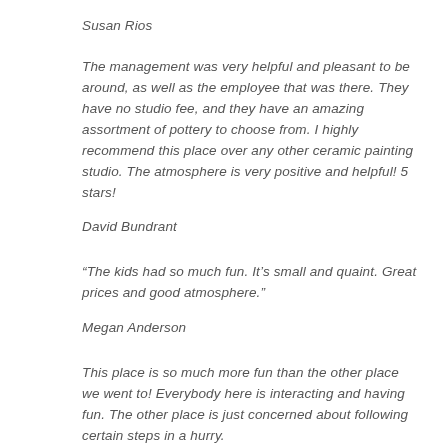Susan Rios
The management was very helpful and pleasant to be around, as well as the employee that was there. They have no studio fee, and they have an amazing assortment of pottery to choose from. I highly recommend this place over any other ceramic painting studio. The atmosphere is very positive and helpful! 5 stars!
David Bundrant
“The kids had so much fun. It’s small and quaint. Great prices and good atmosphere.”
Megan Anderson
This place is so much more fun than the other place we went to! Everybody here is interacting and having fun. The other place is just concerned about following certain steps in a hurry.